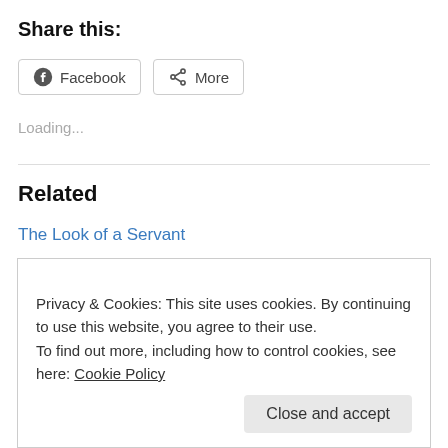Share this:
Facebook  More
Loading...
Related
The Look of a Servant
January 24, 2012
With 1 comment
Privacy & Cookies: This site uses cookies. By continuing to use this website, you agree to their use.
To find out more, including how to control cookies, see here: Cookie Policy